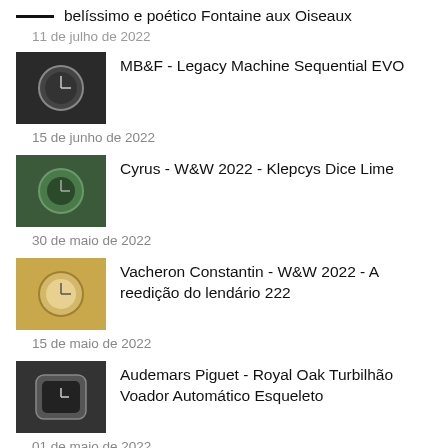belíssimo e poético Fontaine aux Oiseaux
11 de julho de 2022
MB&F - Legacy Machine Sequential EVO
15 de junho de 2022
Cyrus - W&W 2022 - Klepcys Dice Lime
30 de maio de 2022
Vacheron Constantin - W&W 2022 - A reedição do lendário 222
15 de maio de 2022
Audemars Piguet - Royal Oak Turbilhão Voador Automático Esqueleto
01 de maio de 2022
IWC - W&W 2022 - Top Gun Edition Woodland e Lake Tahoe
15 de abril de 2022
TAG Heuer - W&W 2022 - O novo